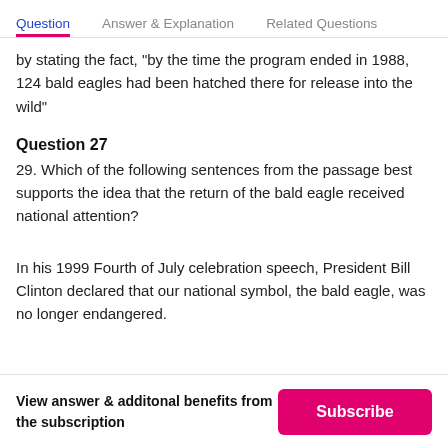Question | Answer & Explanation | Related Questions
by stating the fact, "by the time the program ended in 1988, 124 bald eagles had been hatched there for release into the wild"
Question 27
29. Which of the following sentences from the passage best supports the idea that the return of the bald eagle received national attention?
In his 1999 Fourth of July celebration speech, President Bill Clinton declared that our national symbol, the bald eagle, was no longer endangered.
View answer & additonal benefits from the subscription | Subscribe